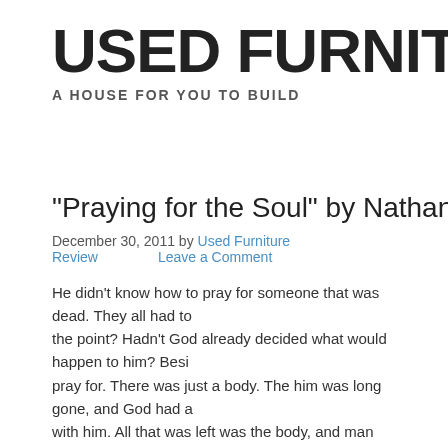USED FURNITURE
A HOUSE FOR YOU TO BUILD
“Praying for the Soul” by Nathaniel Tow…
December 30, 2011 by Used Furniture Review    Leave a Comment
He didn’t know how to pray for someone that was dead. They all had to… the point? Hadn’t God already decided what would happen to him? Besi… pray for. There was just a body. The him was long gone, and God had a… with him. All that was left was the body, and man decided what to do wit…
That’s what John Carpenter thought as he stared at the synthetic rubber… the half-opened cedar coffin. The skin looked pulled on, as if it hadn’t re…